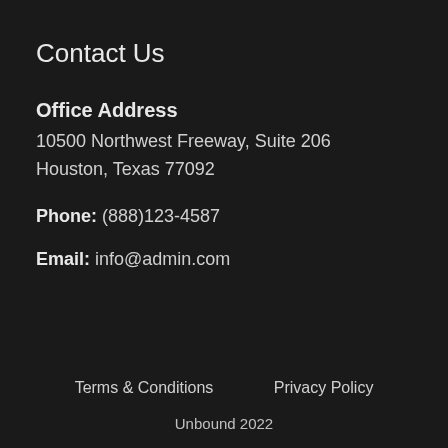Contact Us
Office Address
10500 Northwest Freeway, Suite 206
Houston, Texas 77092
Phone: (888)123-4587
Email: info@admin.com
Terms & Conditions    Privacy Policy
Unbound 2022